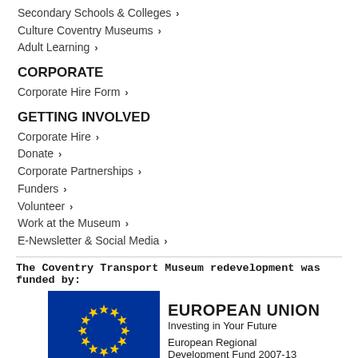Secondary Schools & Colleges ›
Culture Coventry Museums ›
Adult Learning ›
CORPORATE
Corporate Hire Form ›
GETTING INVOLVED
Corporate Hire ›
Donate ›
Corporate Partnerships ›
Funders ›
Volunteer ›
Work at the Museum ›
E-Newsletter & Social Media ›
The Coventry Transport Museum redevelopment was funded by:
[Figure (logo): European Union logo with circle of yellow stars on blue background, with text: EUROPEAN UNION, Investing in Your Future, European Regional Development Fund 2007-13]